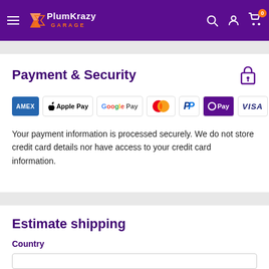PlumKrazy Garage navigation header with logo, search, account, and cart icons
Payment & Security
[Figure (other): Payment method icons: American Express, Apple Pay, Google Pay, Mastercard, PayPal, Shop Pay (O Pay), Visa]
Your payment information is processed securely. We do not store credit card details nor have access to your credit card information.
Estimate shipping
Country